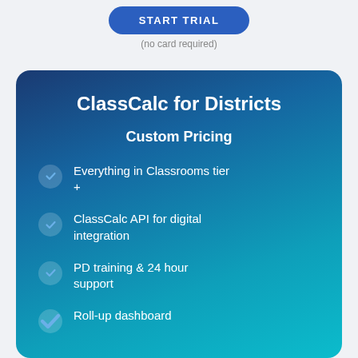[Figure (other): Blue rounded 'START TRIAL' button]
(no card required)
ClassCalc for Districts
Custom Pricing
Everything in Classrooms tier +
ClassCalc API for digital integration
PD training & 24 hour support
Roll-up dashboard